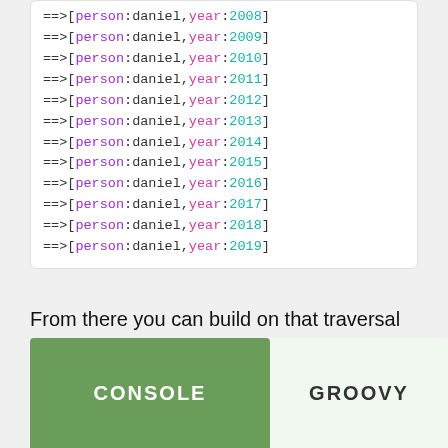==>[person:daniel,year:2008]
==>[person:daniel,year:2009]
==>[person:daniel,year:2010]
==>[person:daniel,year:2011]
==>[person:daniel,year:2012]
==>[person:daniel,year:2013]
==>[person:daniel,year:2014]
==>[person:daniel,year:2015]
==>[person:daniel,year:2016]
==>[person:daniel,year:2017]
==>[person:daniel,year:2018]
==>[person:daniel,year:2019]
From there you can build on that traversal to grab the "location" given the generated "year" for that data:
[Figure (other): Tab bar with two tabs: CONSOLE (active, green background) and GROOVY (inactive, light green background)]